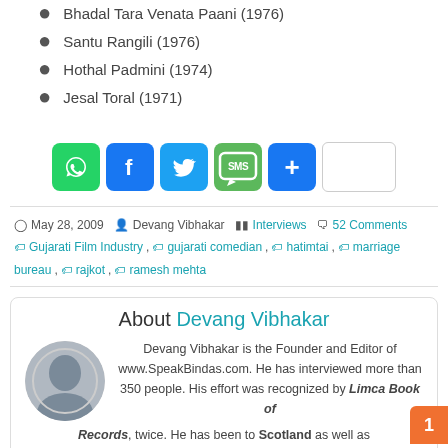Bhadal Tara Venata Paani (1976)
Santu Rangili (1976)
Hothal Padmini (1974)
Jesal Toral (1971)
[Figure (infographic): Social share buttons: WhatsApp, Facebook, Twitter, SMS, More (+), and a blank button]
May 28, 2009  Devang Vibhakar  Interviews  52 Comments
Gujarati Film Industry, gujarati comedian, hatimtai, marriage bureau, rajkot, ramesh mehta
About Devang Vibhakar
Devang Vibhakar is the Founder and Editor of www.SpeakBindas.com. He has interviewed more than 350 people. His effort was recognized by Limca Book of Records, twice. He has been to Scotland as well as